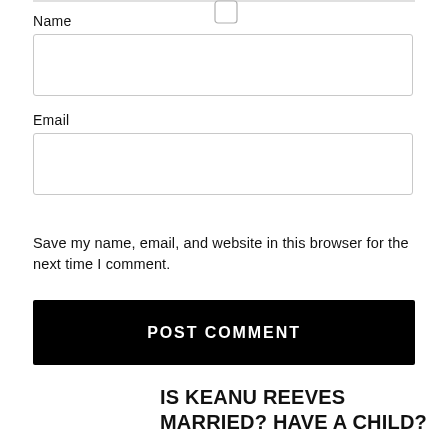Name
[Figure (screenshot): Empty text input field for Name]
Email
[Figure (screenshot): Empty text input field for Email]
[Figure (screenshot): Unchecked checkbox]
Save my name, email, and website in this browser for the next time I comment.
[Figure (screenshot): POST COMMENT button, black background with white uppercase text]
IS KEANU REEVES MARRIED? HAVE A CHILD?